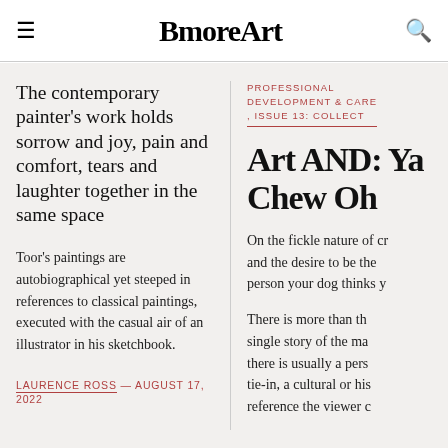BmoreArt
The contemporary painter's work holds sorrow and joy, pain and comfort, tears and laughter together in the same space
Toor's paintings are autobiographical yet steeped in references to classical paintings, executed with the casual air of an illustrator in his sketchbook.
LAURENCE ROSS — AUGUST 17, 2022
PROFESSIONAL DEVELOPMENT & CARE , ISSUE 13: COLLECT
Art AND: Ya Chew Oh
On the fickle nature of cr and the desire to be the person your dog thinks y
There is more than th single story of the ma there is usually a pers tie-in, a cultural or his reference the viewer c